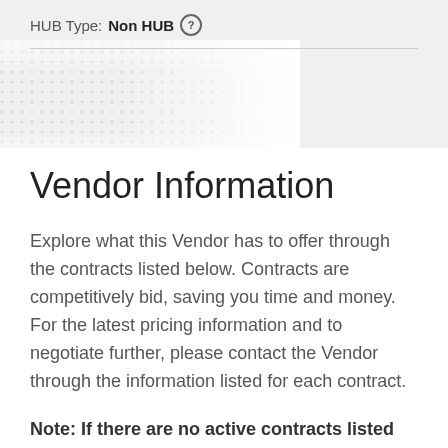HUB Type: Non HUB
Vendor Information
Explore what this Vendor has to offer through the contracts listed below. Contracts are competitively bid, saving you time and money. For the latest pricing information and to negotiate further, please contact the Vendor through the information listed for each contract.
Note: If there are no active contracts listed below, then this vendor does not